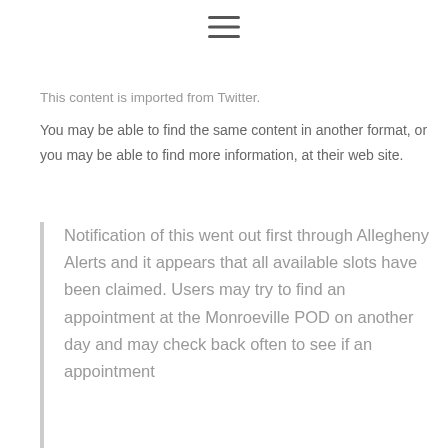[Figure (other): Hamburger menu icon (three horizontal lines)]
This content is imported from Twitter.
You may be able to find the same content in another format, or you may be able to find more information, at their web site.
Notification of this went out first through Allegheny Alerts and it appears that all available slots have been claimed. Users may try to find an appointment at the Monroeville POD on another day and may check back often to see if an appointment